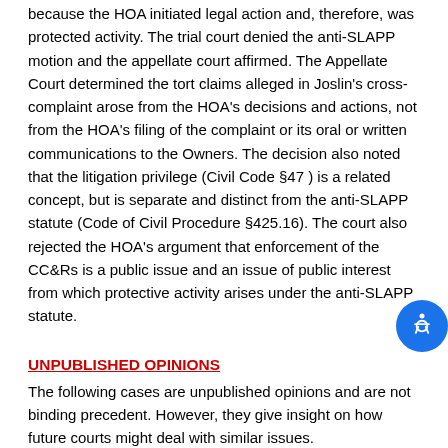because the HOA initiated legal action and, therefore, was protected activity. The trial court denied the anti-SLAPP motion and the appellate court affirmed. The Appellate Court determined the tort claims alleged in Joslin's cross-complaint arose from the HOA's decisions and actions, not from the HOA's filing of the complaint or its oral or written communications to the Owners. The decision also noted that the litigation privilege (Civil Code §47 ) is a related concept, but is separate and distinct from the anti-SLAPP statute (Code of Civil Procedure §425.16). The court also rejected the HOA's argument that enforcement of the CC&Rs is a public issue and an issue of public interest from which protective activity arises under the anti-SLAPP statute.
UNPUBLISHED OPINIONS
The following cases are unpublished opinions and are not binding precedent. However, they give insight on how future courts might deal with similar issues.
Alexander v. Singletary. This case interprets Civil Code §5975(c) which awards attorneys' fees to the prevailing party seeking to enforce the governing documents of a common interest development. Alexander filed a lawsuit seeking a declaration that covenants recorded in 1955 were unenforceable against him so that he could partition his lot out of the subdivision. The trial court granted defendants' summary judgment motion, finding that the 1955 covenants established a common interest